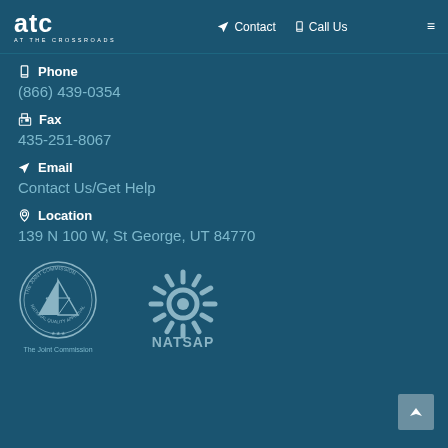ATC AT THE CROSSROADS | Contact | Call Us
Phone
(866) 439-0354
Fax
435-251-8067
Email
Contact Us/Get Help
Location
139 N 100 W, St George, UT 84770
[Figure (logo): The Joint Commission National Quality Approval seal]
[Figure (logo): NATSAP logo with sunburst design]